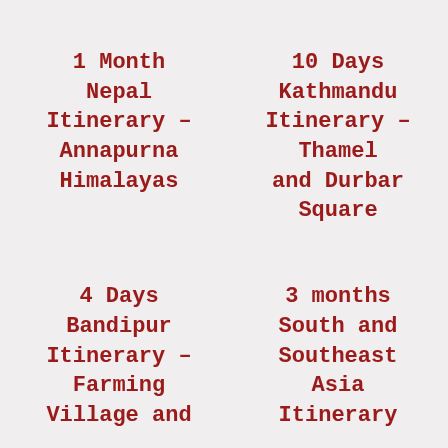1 Month Nepal Itinerary – Annapurna Himalayas
10 Days Kathmandu Itinerary – Thamel and Durbar Square
4 Days Bandipur Itinerary – Farming Village and
3 months South and Southeast Asia Itinerary